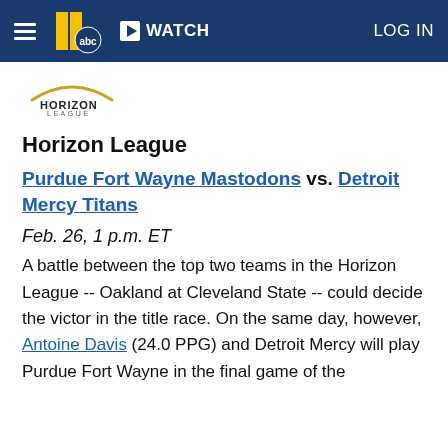WATCH | LOG IN
[Figure (logo): Horizon League logo with orange arc above text]
Horizon League
Purdue Fort Wayne Mastodons vs. Detroit Mercy Titans
Feb. 26, 1 p.m. ET
A battle between the top two teams in the Horizon League -- Oakland at Cleveland State -- could decide the victor in the title race. On the same day, however, Antoine Davis (24.0 PPG) and Detroit Mercy will play Purdue Fort Wayne in the final game of the